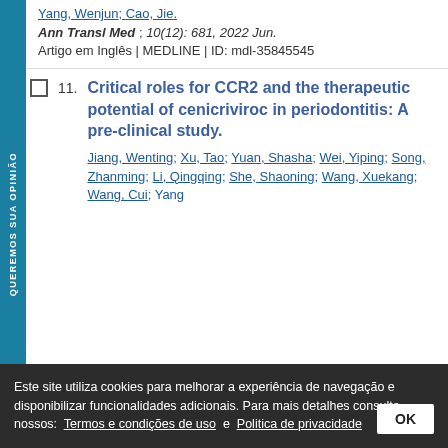Yang, Wenjun; Cao, Jie.
Ann Transl Med ; 10(12): 681, 2022 Jun.
Artigo em Inglês | MEDLINE | ID: mdl-35845545
Critical roles for CCR2 and the therapeutic potential of cenicriviroc in periodontitis: A pre-clinical study.
Jiang, Wenting; Xu, Tao; Yuan, Shasha; Wei, Yiping; Song, Zhanming; Li, Qingqing; She, Shaoning; Wang, Xuekang; Wang, Cui; Yang
Este site utiliza cookies para melhorar a experiência de navegação e disponibilizar funcionalidades adicionais. Para mais detalhes consulte nossos: Termos e condições de uso e Politica de privacidade
J Clin Periodontol; 2022 Jul 11
Artigo em Inglês | MEDLINE | ID: mdl-